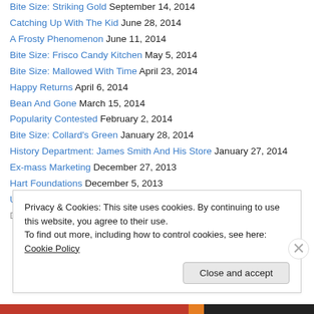Bite Size: Striking Gold September 14, 2014
Catching Up With The Kid June 28, 2014
A Frosty Phenomenon June 11, 2014
Bite Size: Frisco Candy Kitchen May 5, 2014
Bite Size: Mallowed With Time April 23, 2014
Happy Returns April 6, 2014
Bean And Gone March 15, 2014
Popularity Contested February 2, 2014
Bite Size: Collard's Green January 28, 2014
History Department: James Smith And His Store January 27, 2014
Ex-mass Marketing December 27, 2013
Hart Foundations December 5, 2013
Unblemished Record: The Flawless Reign of Bernard Roundhill
December 2, 2013
Privacy & Cookies: This site uses cookies. By continuing to use this website, you agree to their use. To find out more, including how to control cookies, see here: Cookie Policy
Close and accept